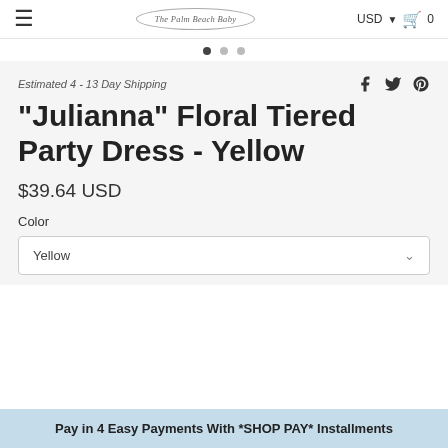The Palm Beach Baby — USD — Cart 0
[Figure (other): Carousel navigation dots, three dots with first dot active]
Estimated 4 - 13 Day Shipping
"Julianna" Floral Tiered Party Dress - Yellow
$39.64 USD
Color
Yellow
Pay in 4 Easy Payments With *SHOP PAY* Installments